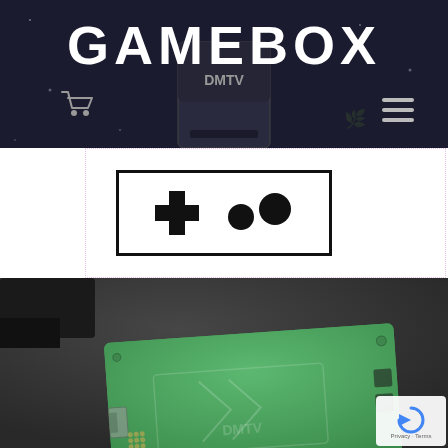GAMEBOX
[Figure (logo): GAMEBOX logo with game controller icon showing D-pad cross and two circles, white text on dark navy background. Shopping cart icon on left and hamburger menu icon on right. A DMTV cartridge shape appears in the header background.]
[Figure (photo): Close-up photograph of a green PCB (printed circuit board) with DMTV logo etched on it, placed on a dark surface. The board has connectors and electronic components visible.]